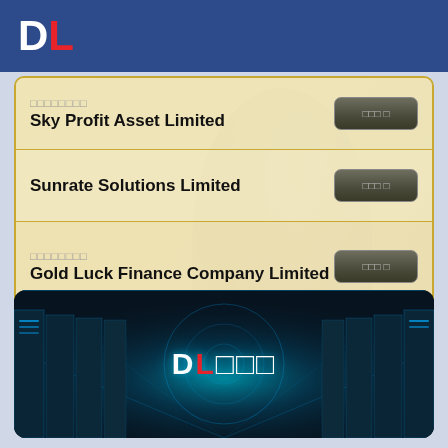DL
□□□□□□□□ Sky Profit Asset Limited | □□□ □
Sunrate Solutions Limited | □□□ □
□□□□□□□□ Gold Luck Finance Company Limited | □□□ □
□□□□□□□□ Fornix Finance Company Limited | □□□ □
[Figure (illustration): Data center corridor with blue glowing lights and circular network overlay, DL logo text in center]